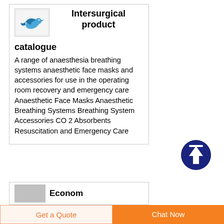[Figure (logo): Intersurgical logo with stylized blue bird/figure]
Intersurgical product catalogue
A range of anaesthesia breathing systems anaesthetic face masks and accessories for use in the operating room recovery and emergency care Anaesthetic Face Masks Anaesthetic Breathing Systems Breathing System Accessories CO 2 Absorbents Resuscitation and Emergency Care
[Figure (illustration): Dark navy blue circle with white upward arrow icon (scroll to top button)]
[Figure (photo): Partial second product card showing grey image thumbnail and partial text 'Econom...']
Get a Quote   Chat Now